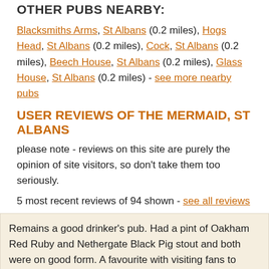OTHER PUBS NEARBY:
Blacksmiths Arms, St Albans (0.2 miles), Hogs Head, St Albans (0.2 miles), Cock, St Albans (0.2 miles), Beech House, St Albans (0.2 miles), Glass House, St Albans (0.2 miles) - see more nearby pubs
USER REVIEWS OF THE MERMAID, ST ALBANS
please note - reviews on this site are purely the opinion of site visitors, so don't take them too seriously.
5 most recent reviews of 94 shown - see all reviews
Remains a good drinker's pub. Had a pint of Oakham Red Ruby and Nethergate Black Pig stout and both were on good form. A favourite with visiting fans to SAFC.
Report this for removal Snarling_Mallard - 9 Dec 2018 11:04
It's a fair slog uphill from St Albans Abbey railway station to the Mermaid. But it's still my favourite pub in the city. Although my opinion is swayed by its excellent range of